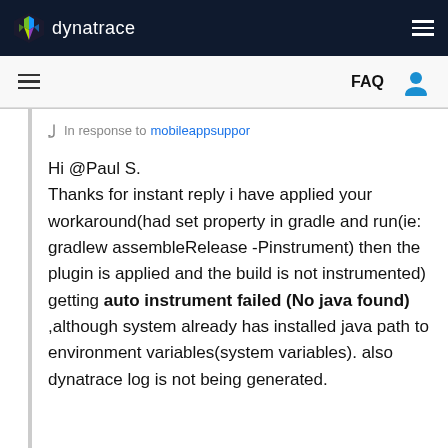dynatrace
FAQ
In response to mobileappsuppor
Hi @Paul S.
Thanks for instant reply i have applied your workaround(had set property in gradle and run(ie: gradlew assembleRelease -Pinstrument) then the plugin is applied and the build is not instrumented) getting auto instrument failed (No java found) ,although system already has installed java path to environment variables(system variables). also dynatrace log is not being generated.